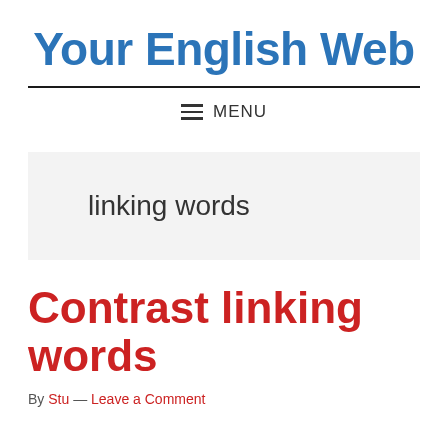Your English Web
≡  MENU
linking words
Contrast linking words
By Stu — Leave a Comment